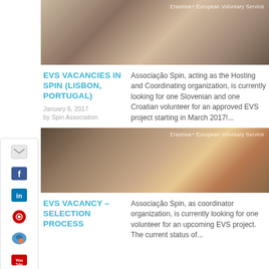[Figure (photo): Group photo of volunteers with Erasmus+ European Voluntary Service watermark]
EVS VACANCIES IN SPIN (LISBON, PORTUGAL)
January 6, 2017
by Spin Association
Associação Spin, acting as the Hosting and Coordinating organization, is currently looking for one Slovenian and one Croatian volunteer for an approved EVS project starting in March 2017!...
[Figure (photo): People sitting around a table working, with Erasmus+ European Voluntary Service watermark]
EVS VACANCY – SELECTION PROCESS
Associação Spin, as coordinator organization, is currently looking for one volunteer for an upcoming EVS project. The current status of...